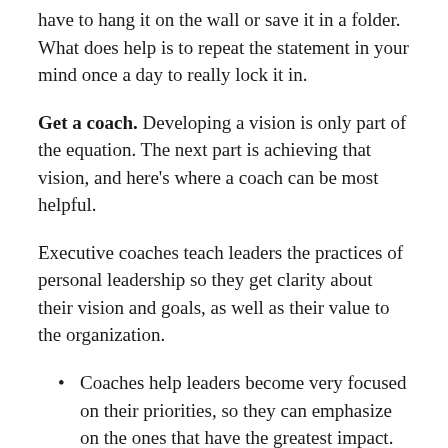have to hang it on the wall or save it in a folder. What does help is to repeat the statement in your mind once a day to really lock it in.
Get a coach. Developing a vision is only part of the equation. The next part is achieving that vision, and here’s where a coach can be most helpful.
Executive coaches teach leaders the practices of personal leadership so they get clarity about their vision and goals, as well as their value to the organization.
Coaches help leaders become very focused on their priorities, so they can emphasize on the ones that have the greatest impact.
Coaches help leaders take clear, specific action to get results, with accountability and measurement.